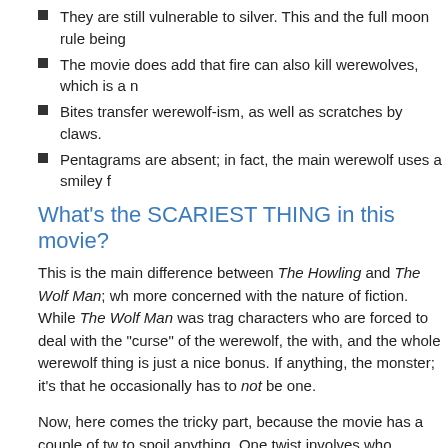They are still vulnerable to silver. This and the full moon rule being
The movie does add that fire can also kill werewolves, which is a n
Bites transfer werewolf-ism, as well as scratches by claws.
Pentagrams are absent; in fact, the main werewolf uses a smiley f
What's the SCARIEST THING in this movie?
This is the main difference between The Howling and The Wolf Man; wh more concerned with the nature of fiction. While The Wolf Man was trag characters who are forced to deal with the "curse" of the werewolf, the with, and the whole werewolf thing is just a nice bonus. If anything, the monster; it's that he occasionally has to not be one.
Now, here comes the tricky part, because the movie has a couple of tw to spoil anything. One twist involves who, besides Eddie and his sister M Marsha are werewolves, and related. However, Marsha is the most blat movie to not know Eddie was a werewolf from the beginning, and then by the movie.
If you've been paying attention at all, and have the slightest familiarity connection. And the movie knows this; it plays the scene where a chara revelation is what the scene is about. It isn't.
Postmodern films can annoy people because they may not take the act scene", is a great counter to that idea. The movie knows you know; you it gets you.